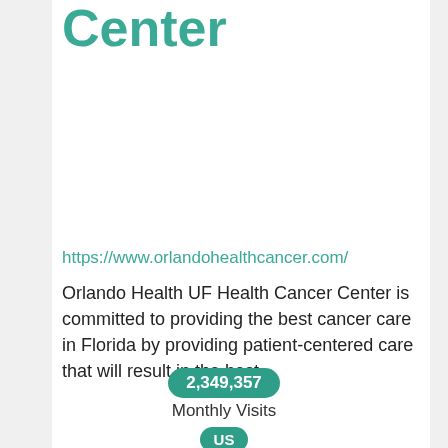Center
https://www.orlandohealthcancer.com/
Orlando Health UF Health Cancer Center is committed to providing the best cancer care in Florida by providing patient-centered care that will result in the best
2,349,357
Monthly Visits
US
Popular in